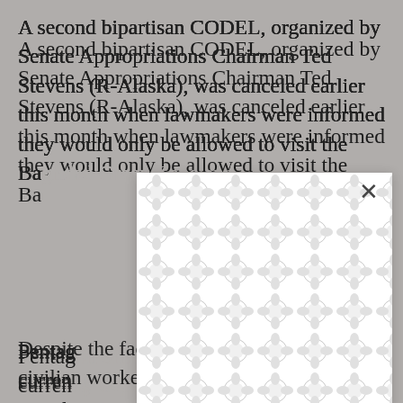A second bipartisan CODEL, organized by Senate Appropriations Chairman Ted Stevens (R-Alaska), was canceled earlier this month when lawmakers were informed they would only be allowed to visit the Ba[...]
[Figure (other): A white modal/popup overlay with a decorative pattern of interlocking circles, with an X close button in the top right corner, obscuring part of the underlying text.]
Pentag[...] here curren[...] to Iraq, b[...] CODEL memb[...] oject to appr[...] rity Leader.
Despite the fact that journalists and civilian workers from federal agencies and